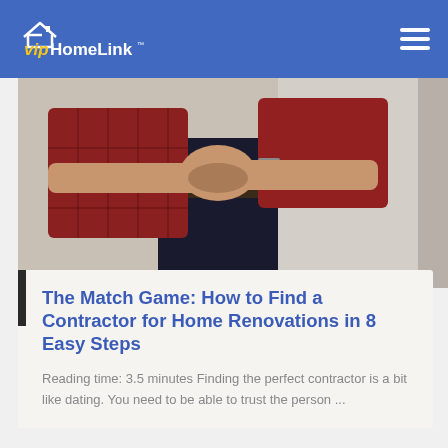[Figure (logo): vipHomeLink logo — house icon above text in yellow/white on blue background]
[Figure (photo): Two people shaking hands or clasping hands, one in a red plaid flannel shirt, one in dark jeans, photographed from below the waist]
The Match Game: How to Find a Contractor for Home Renovations in 8 Easy Steps
Reading time: 3.5 minutes Finding the perfect contractor is a bit like dating. You need to be able to trust the person ...